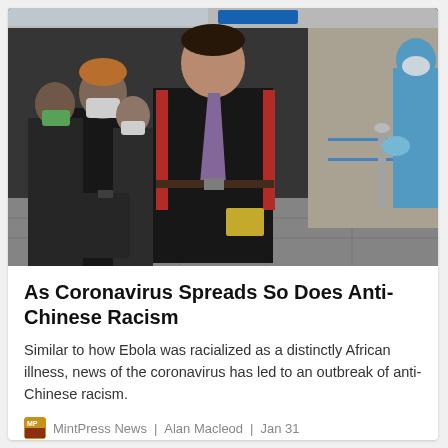[Figure (photo): Airport scene showing people walking through a terminal. The foreground shows a man in a dark coat and purple tie carrying a yellow envelope, wearing a red backpack. Behind him are people wearing masks. On the right side, a person in blue medical protective gear is visible.]
As Coronavirus Spreads So Does Anti-Chinese Racism
Similar to how Ebola was racialized as a distinctly African illness, news of the coronavirus has led to an outbreak of anti-Chinese racism.
MintPress News | Alan Macleod | Jan 31